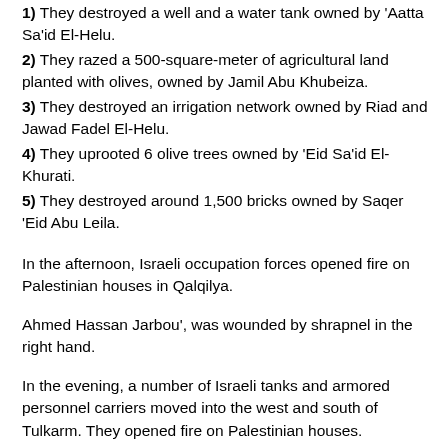1) They destroyed a well and a water tank owned by 'Aatta Sa'id El-Helu.
2) They razed a 500-square-meter of agricultural land planted with olives, owned by Jamil Abu Khubeiza.
3) They destroyed an irrigation network owned by Riad and Jawad Fadel El-Helu.
4) They uprooted 6 olive trees owned by 'Eid Sa'id El-Khurati.
5) They destroyed around 1,500 bricks owned by Saqer 'Eid Abu Leila.
In the afternoon, Israeli occupation forces opened fire on Palestinian houses in Qalqilya.
Ahmed Hassan Jarbou', was wounded by shrapnel in the right hand.
In the evening, a number of Israeli tanks and armored personnel carriers moved into the west and south of Tulkarm. They opened fire on Palestinian houses.
Electricity was cut off in the two areas after an electricity transformer